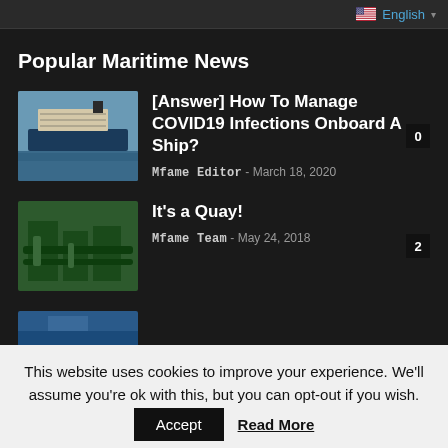English
Popular Maritime News
[Figure (photo): Cruise ship at sea]
[Answer] How To Manage COVID19 Infections Onboard A Ship?
Mfame Editor - March 18, 2020
[Figure (photo): Green maritime equipment at a quay]
It's a Quay!
Mfame Team - May 24, 2018
[Figure (photo): Partial third news item thumbnail]
This website uses cookies to improve your experience. We'll assume you're ok with this, but you can opt-out if you wish.
Accept  Read More